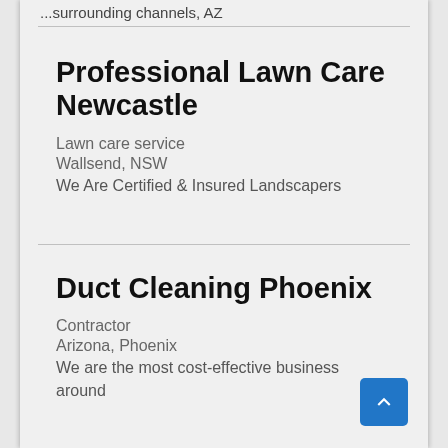...surrounding channels, AZ
Professional Lawn Care Newcastle
Lawn care service
Wallsend, NSW
We Are Certified & Insured Landscapers
Duct Cleaning Phoenix
Contractor
Arizona, Phoenix
We are the most cost-effective business around